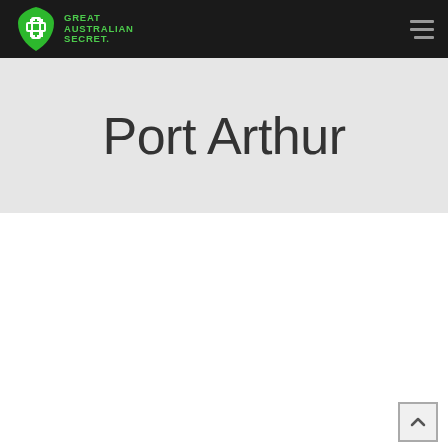Great Australian Secret.
Port Arthur
[Figure (logo): Great Australian Secret logo with green shield/Tasmania shape and cross icon, with green text reading GREAT AUSTRALIAN SECRET.]